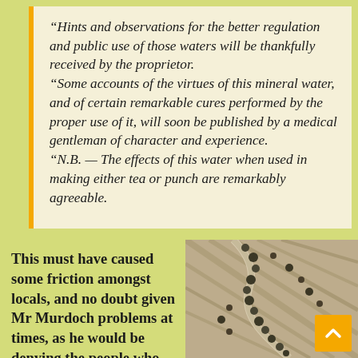“Hints and observations for the better regulation and public use of those waters will be thankfully received by the proprietor. “Some accounts of the virtues of this mineral water, and of certain remarkable cures performed by the proper use of it, will soon be published by a medical gentleman of character and experience. “N.B. — The effects of this water when used in making either tea or punch are remarkably agreeable.
This must have caused some friction amongst locals, and no doubt given Mr Murdoch problems at times, as he would be denying the people who were born and bred here
[Figure (photo): Aerial black and white photograph showing a winding road or path through agricultural fields with trees lining one side]